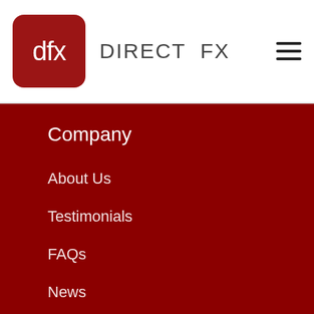[Figure (logo): Direct FX logo: dark red rounded square with white 'dfx' text, followed by 'DIRECT FX' brand name in grey, with hamburger menu icon on the right]
Company
About Us
Testimonials
FAQs
News
Contact Us
New Zealand Office